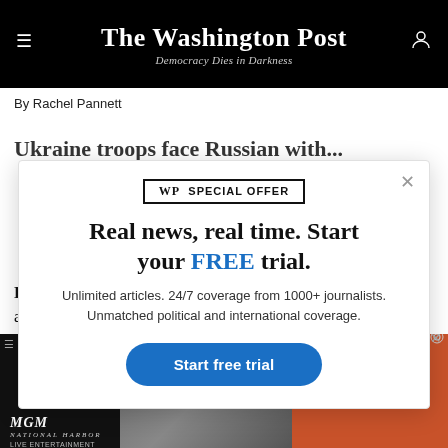The Washington Post — Democracy Dies in Darkness
By Rachel Pannett
Ukraine troops face Russian withdrawal around...
[Figure (screenshot): Washington Post subscription modal with 'wp SPECIAL OFFER' badge, headline 'Real news, real time. Start your FREE trial.', subtext 'Unlimited articles. 24/7 coverage from 1000+ journalists. Unmatched political and international coverage.', and a blue 'Start free trial' button. Close button (×) in top-right corner.]
Kharkiv: Russian troops are trying to hold the border after withdrawing from areas around Ukraine's second-
[Figure (screenshot): MGM advertisement banner at bottom of page with photo of person and text 'THE PIANO GUYS SEPTEMBER 9']